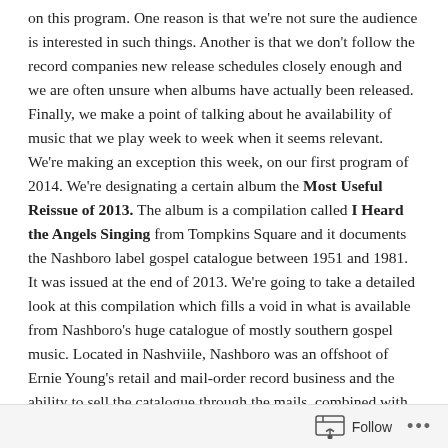on this program. One reason is that we're not sure the audience is interested in such things. Another is that we don't follow the record companies new release schedules closely enough and we are often unsure when albums have actually been released. Finally, we make a point of talking about he availability of music that we play week to week when it seems relevant. We're making an exception this week, on our first program of 2014. We're designating a certain album the Most Useful Reissue of 2013. The album is a compilation called I Heard the Angels Singing from Tompkins Square and it documents the Nashboro label gospel catalogue between 1951 and 1981. It was issued at the end of 2013. We're going to take a detailed look at this compilation which fills a void in what is available from Nashboro's huge catalogue of mostly southern gospel music. Located in Nashviile, Nashboro was an offshoot of Ernie Young's retail and mail-order record business and the ability to sell the catalogue through the mails, combined with its marketing reach through Nashville's powerful radio superstation. WLAC, is probably what enabled Nashboro to maintain such a large and diverse gospel catalogue. Part of what makes this collection important is the unavailability of
Follow ···